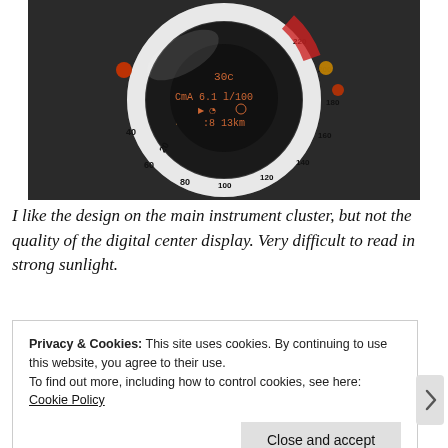[Figure (photo): Close-up photograph of a car instrument cluster/speedometer showing a circular gauge with speed markings (20, 40, 60, 80, 100, 120, 140, 160, 180, 200, 220 km/h), a digital center display showing '30c', 'CmA 6.1 l/100', '18 13km', and warning lights on either side. The needle appears to point near 0.]
I like the design on the main instrument cluster, but not the quality of the digital center display. Very difficult to read in strong sunlight.
Privacy & Cookies: This site uses cookies. By continuing to use this website, you agree to their use.
To find out more, including how to control cookies, see here: Cookie Policy
Close and accept